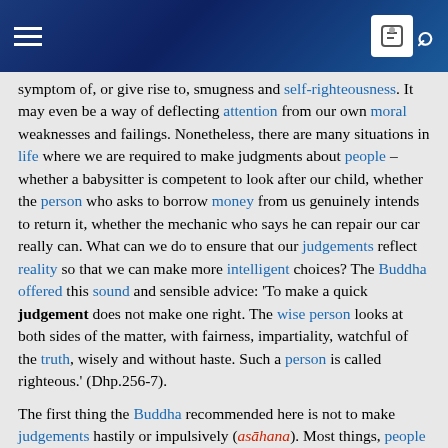Navigation bar with hamburger menu and search icon
symptom of, or give rise to, smugness and self-righteousness. It may even be a way of deflecting attention from our own moral weaknesses and failings. Nonetheless, there are many situations in life where we are required to make judgments about people – whether a babysitter is competent to look after our child, whether the person who asks to borrow money from us genuinely intends to return it, whether the mechanic who says he can repair our car really can. What can we do to ensure that our judgements reflect reality so that we can make more intelligent choices? The Buddha offered this sound and sensible advice: 'To make a quick judgement does not make one right. The wise person looks at both sides of the matter, with fairness, impartiality, watchful of the truth, wisely and without haste. Such a person is called righteous.' (Dhp.256-7).
The first thing the Buddha recommended here is not to make judgements hastily or impulsively (asāhana). Most things, people included, are multifaceted and take time to reveal themselves to us fully. Likewise, knowledge about something usually comes at the end of a process of accumulating data. Consequently, it is safe to